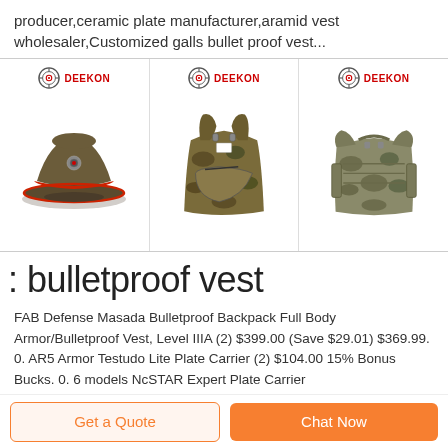producer,ceramic plate manufacturer,aramid vest wholesaler,Customized galls bullet proof vest...
[Figure (photo): Three product images from DEEKON brand: a military peaked cap (olive/khaki with red band), a camouflage tactical backpack/vest, and a multicam tactical plate carrier vest, arranged in a horizontal row with DEEKON logos above each.]
: bulletproof vest
FAB Defense Masada Bulletproof Backpack Full Body Armor/Bulletproof Vest, Level IIIA (2) $399.00 (Save $29.01) $369.99. 0. AR5 Armor Testudo Lite Plate Carrier (2) $104.00 15% Bonus Bucks. 0. 6 models NcSTAR Expert Plate Carrier